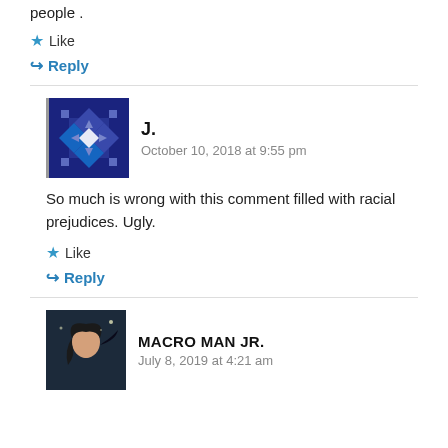people .
★ Like
↪ Reply
[Figure (illustration): Blue geometric patterned avatar icon for commenter J.]
J.
October 10, 2018 at 9:55 pm
So much is wrong with this comment filled with racial prejudices. Ugly.
★ Like
↪ Reply
[Figure (illustration): Dark anime-style avatar for commenter MACRO MAN JR.]
MACRO MAN JR.
July 8, 2019 at 4:21 am